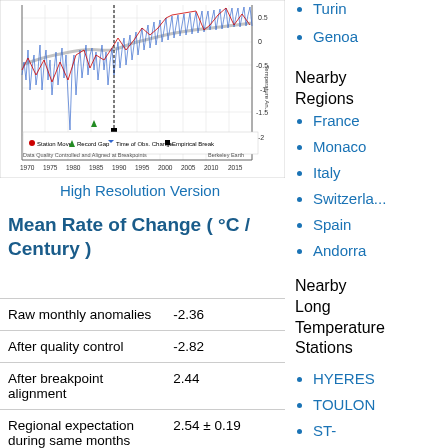[Figure (continuous-plot): Temperature anomaly time series chart (1965-2015) showing raw monthly data (blue line), cleaned data (red line), and smoothed trend (gray line). Y-axis shows temperature anomaly from -2 to 0.5. Markers for Station Move (red dot), Record Gap (green triangle), Time of Obs. Change (blue triangle), and Empirical Break (black square). Data Quality Controlled and Aligned at Breakpoints. Source: Berkeley Earth.]
High Resolution Version
Mean Rate of Change ( °C / Century )
|  |  |
| --- | --- |
| Raw monthly anomalies | -2.36 |
| After quality control | -2.82 |
| After breakpoint alignment | 2.44 |
| Regional expectation during same months | 2.54 ± 0.19 |
| National average during ... | 2.13 ± |
Turin
Genoa
Nearby Regions
France
Monaco
Italy
Switzerland
Spain
Andorra
Nearby Long Temperature Stations
HYERES
TOULON
ST-